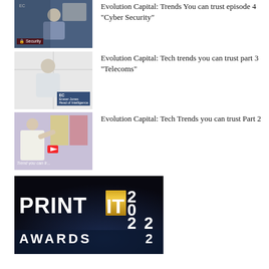[Figure (photo): Thumbnail of man in blue shirt standing in front of whiteboard with security label overlay]
Evolution Capital: Trends You can trust episode 4 “Cyber Security”
[Figure (photo): Thumbnail of man in white shirt in office setting with EC Evolution Capital branding overlay]
Evolution Capital: Tech trends you can trust part 3 “Telecoms”
[Figure (photo): Thumbnail of man presenting with colorful background and 'Trend you can tr...' text overlay]
Evolution Capital: Tech Trends you can trust Part 2
[Figure (photo): Print IT Awards 2022 logo on dark background with blue glow effect]